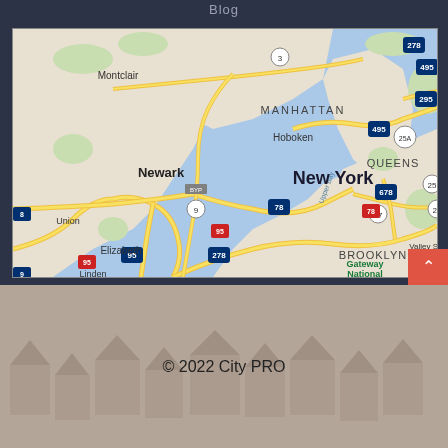Blog
[Figure (map): Google Maps view showing New York City area including Manhattan, Brooklyn, Queens, Newark, Hoboken, Elizabeth, Linden, Montclair, Union, and surrounding areas with major highways (I-278, I-495, I-95, I-295, Route 25A, Route 27, Route 678, Route 78, Route 3, Route 9, Route 25, Route 8) and water bodies (Upper Bay). Gateway National Recreation area is labeled in green.]
© 2022 City PRO